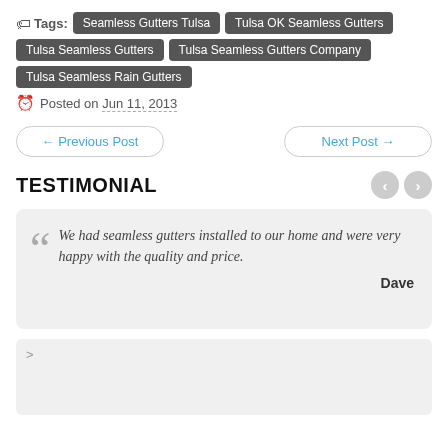Tags: Seamless Gutters Tulsa | Tulsa OK Seamless Gutters | Tulsa Seamless Gutters | Tulsa Seamless Gutters Company | Tulsa Seamless Rain Gutters
Posted on Jun 11, 2013
← Previous Post
Next Post →
TESTIMONIAL
We had seamless gutters installed to our home and were very happy with the quality and price.
Dave